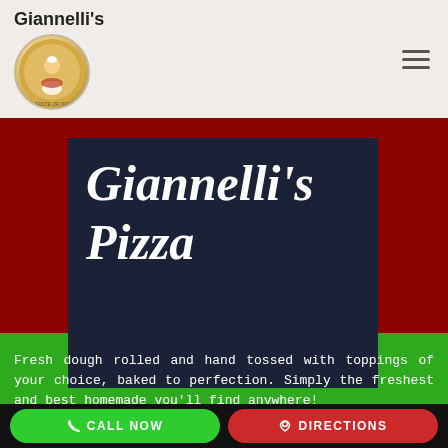Giannelli's
Giannelli's Pizza
Fresh dough rolled and hand tossed with toppings of your choice, baked to perfection. Simply the freshest and best homemade you'll find anywhere!
CALL NOW | DIRECTIONS